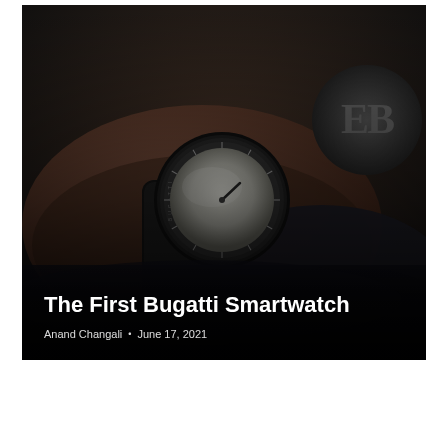[Figure (photo): A dark, close-up photograph of a Bugatti smartwatch being worn on a wrist, with the circular watch face visible showing minimal markings. In the background, a Bugatti logo (double-B) is partially visible on what appears to be a car interior or accessory. The image has dark, moody lighting.]
The First Bugatti Smartwatch
Anand Changali • June 17, 2021